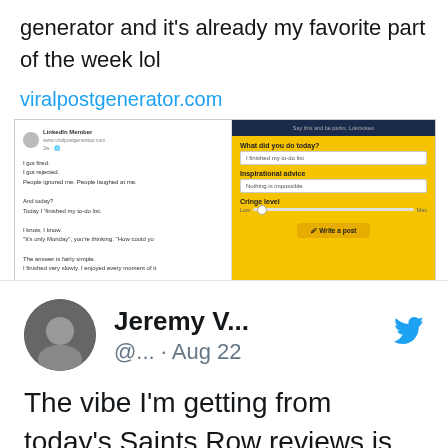generator and it's already my favorite part of the week lol
viralpostgenerator.com
[Figure (screenshot): Screenshot of viralpostgenerator.com website showing a LinkedIn-style inspirational post generator with a sample post on the left and the web form on the right with yellow background]
2K  178K
Jeremy V... @... · Aug 22
The vibe I'm getting from today's Saints Row reviews is that it'll be worth picking up a few patches down the line, and possibly alongside